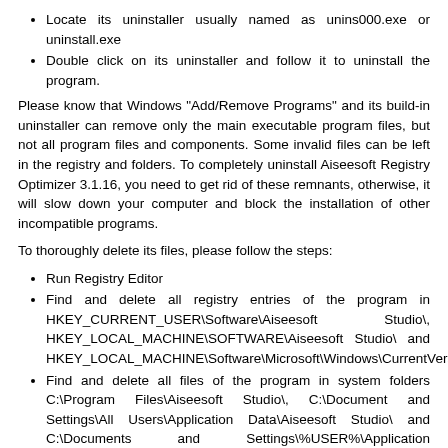Locate its uninstaller usually named as unins000.exe or uninstall.exe
Double click on its uninstaller and follow it to uninstall the program.
Please know that Windows "Add/Remove Programs" and its build-in uninstaller can remove only the main executable program files, but not all program files and components. Some invalid files can be left in the registry and folders. To completely uninstall Aiseesoft Registry Optimizer 3.1.16, you need to get rid of these remnants, otherwise, it will slow down your computer and block the installation of other incompatible programs.
To thoroughly delete its files, please follow the steps:
Run Registry Editor
Find and delete all registry entries of the program in HKEY_CURRENT_USER\Software\Aiseesoft Studio\, HKEY_LOCAL_MACHINE\SOFTWARE\Aiseesoft Studio\ and HKEY_LOCAL_MACHINE\Software\Microsoft\Windows\CurrentVers
Find and delete all files of the program in system folders C:\Program Files\Aiseesoft Studio\, C:\Document and Settings\All Users\Application Data\Aiseesoft Studio\ and C:\Documents and Settings\%USER%\Application Data\Aiseesoft Studio\.
NOTE: We recommend only for advanced computer users, manually edit the registry and remove Aiseesoft Registry Optimizer because